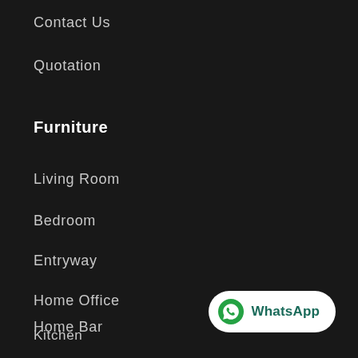Contact Us
Quotation
Furniture
Living Room
Bedroom
Entryway
Home Office
Kitchen
Home Bar
[Figure (screenshot): WhatsApp contact button in bottom right corner]